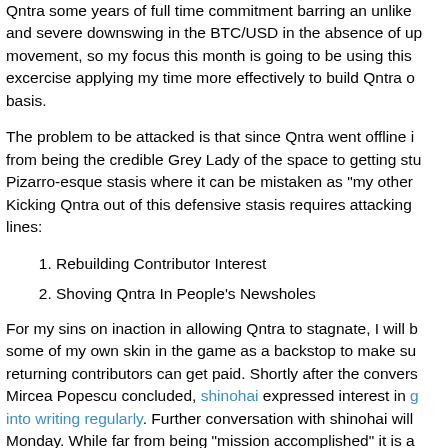Qntra some years of full time commitment barring an unlikely and severe downswing in the BTC/USD in the absence of upward movement, so my focus this month is going to be using this excercise applying my time more effectively to build Qntra on a basis.
The problem to be attacked is that since Qntra went offline it went from being the credible Grey Lady of the space to getting stuck in a Pizarro-esque stasis where it can be mistaken as "my other thing". Kicking Qntra out of this defensive stasis requires attacking on two lines:
1. Rebuilding Contributor Interest
2. Shoving Qntra In People's Newsholes
For my sins on inaction in allowing Qntra to stagnate, I will be putting some of my own skin in the game as a backstop to make sure that returning contributors can get paid. Shortly after the conversation with Mircea Popescu concluded, shinohai expressed interest in getting back into writing regularly. Further conversation with shinohai will conclude Monday. While far from being "mission accomplished" it is a
I suspect the most productive line of outreach, for finding both writers readers, is going to be commenting on blogs. This means se